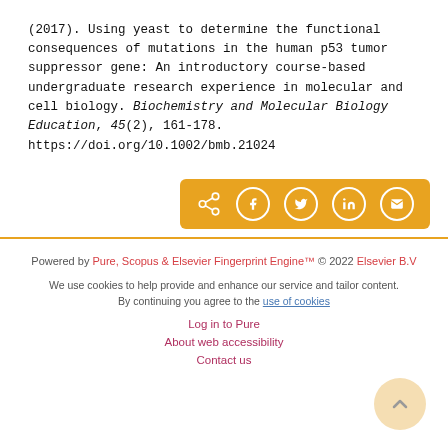(2017). Using yeast to determine the functional consequences of mutations in the human p53 tumor suppressor gene: An introductory course-based undergraduate research experience in molecular and cell biology. Biochemistry and Molecular Biology Education, 45(2), 161-178. https://doi.org/10.1002/bmb.21024
[Figure (other): Social share bar with icons for share, Facebook, Twitter, LinkedIn, and email on an orange/gold background]
Powered by Pure, Scopus & Elsevier Fingerprint Engine™ © 2022 Elsevier B.V

We use cookies to help provide and enhance our service and tailor content. By continuing you agree to the use of cookies

Log in to Pure

About web accessibility

Contact us